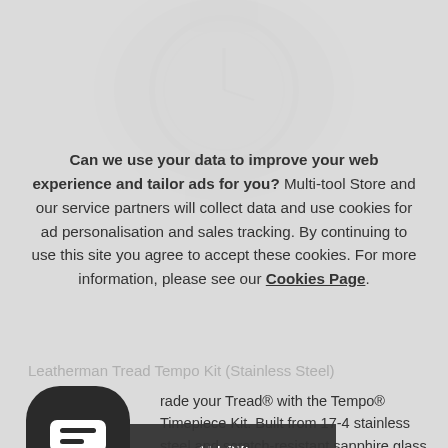[Figure (screenshot): Faded background image of a watch (Leatherman Tread Tempo) visible behind the cookie consent overlay]
Can we use your data to improve your web experience and tailor ads for you? Multi-tool Store and our service partners will collect data and use cookies for ad personalisation and sales tracking. By continuing to use this site you agree to accept these cookies. For more information, please see our Cookies Page.
ALLOW COOKIES
Leatherman Tread Tempo Kit (Stainless Steel)
[Figure (illustration): Dark rounded square chat/message icon with a white speech bubble symbol]
rade your Tread® with the Tempo® Timepiece Kit. Built from 17-4 stainless steel and scratch-resistant sapphire glass, the Swiss movement timepiece adds